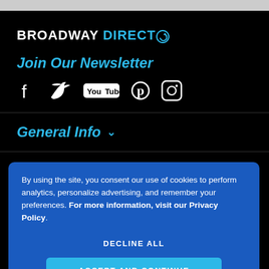[Figure (logo): Broadway Direct logo with BROADWAY in white bold text and DIRECT in blue bold text followed by a blue circular arrow icon]
Join Our Newsletter
[Figure (infographic): Social media icons row: Facebook, Twitter, YouTube, Pinterest, Instagram — all white on black background]
General Info
By using the site, you consent our use of cookies to perform analytics, personalize advertising, and remember your preferences. For more information, visit our Privacy Policy.
DECLINE ALL
ACCEPT AND CONTINUE
American Airlines